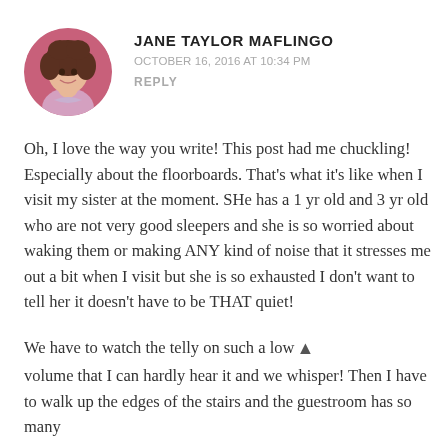[Figure (photo): Circular avatar photo of Jane Taylor Maflingo, a woman with curly hair smiling, pink/magenta background]
JANE TAYLOR MAFLINGO
OCTOBER 16, 2016 AT 10:34 PM
REPLY
Oh, I love the way you write! This post had me chuckling! Especially about the floorboards. That's what it's like when I visit my sister at the moment. SHe has a 1 yr old and 3 yr old who are not very good sleepers and she is so worried about waking them or making ANY kind of noise that it stresses me out a bit when I visit but she is so exhausted I don't want to tell her it doesn't have to be THAT quiet!
We have to watch the telly on such a low volume that I can hardly hear it and we whisper! Then I have to walk up the edges of the stairs and the guestroom has so many